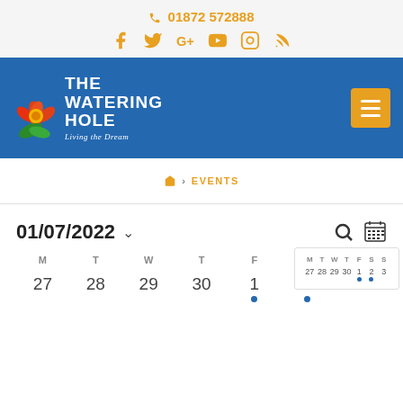📞 01872 572888
[Figure (other): Social media icons: Facebook, Twitter, Google+, YouTube, Instagram, RSS feed — all in amber/orange color]
[Figure (logo): The Watering Hole logo — white text on blue background with tropical flower illustration and tagline 'Living the Dream']
🏠 › EVENTS
01/07/2022
[Figure (other): Mini calendar popup showing week days M T W T F S S with dates 27 28 29 30 1 2 3 and dots under 1 and 2]